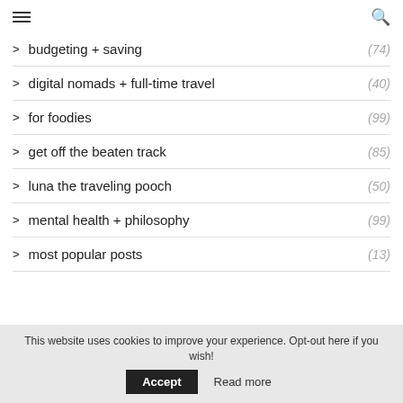≡  🔍
budgeting + saving (74)
digital nomads + full-time travel (40)
for foodies (99)
get off the beaten track (85)
luna the traveling pooch (50)
mental health + philosophy (99)
most popular posts (13)
This website uses cookies to improve your experience. Opt-out here if you wish! Accept Read more